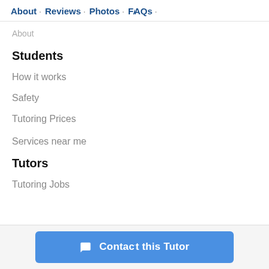About · Reviews · Photos · FAQs ·
About
Students
How it works
Safety
Tutoring Prices
Services near me
Tutors
Tutoring Jobs
Contact this Tutor